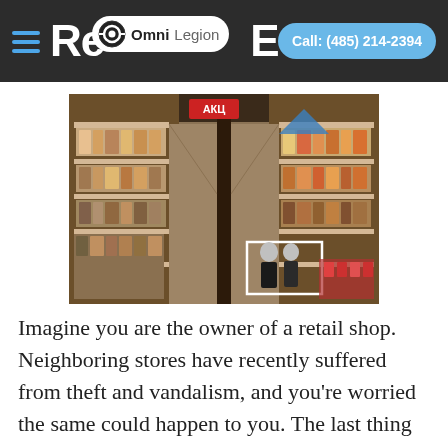Retail Exam | OmniLegion | Call: (485) 214-2394
[Figure (photo): Overhead CCTV-style view of a retail store aisle with shelves of products on both sides. Two white bounding-box overlays are visible near the bottom of the image highlighting people in the store.]
Imagine you are the owner of a retail shop. Neighboring stores have recently suffered from theft and vandalism, and you’re worried the same could happen to you. The last thing you can afford is the loss of valuable inventory, or the cost of fixing property damage, so you outfit your store with smart security